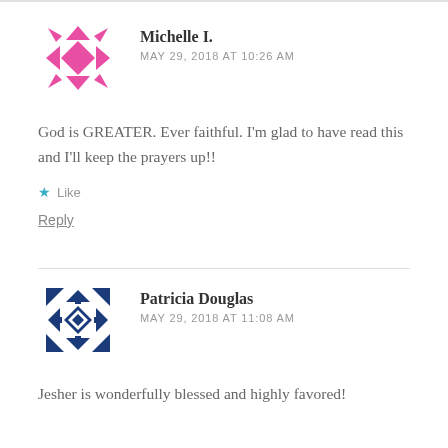[Figure (illustration): Pink decorative geometric quilt-pattern avatar for Michelle I.]
Michelle I.
MAY 29, 2018 AT 10:26 AM
God is GREATER. Ever faithful. I'm glad to have read this and I'll keep the prayers up!!
★ Like
Reply
[Figure (illustration): Blue decorative geometric quilt-pattern avatar for Patricia Douglas]
Patricia Douglas
MAY 29, 2018 AT 11:08 AM
Jesher is wonderfully blessed and highly favored!